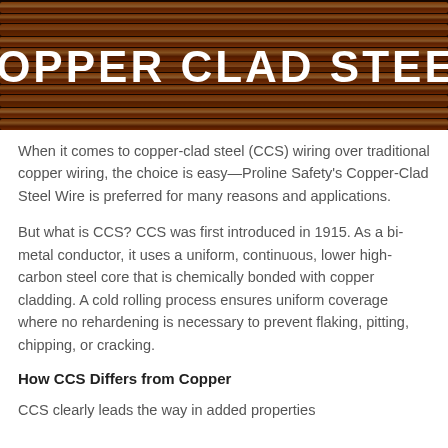[Figure (photo): Hero banner image of copper wires with dark background and the text 'COPPER CLAD STEEL' overlaid in large white bold capital letters]
When it comes to copper-clad steel (CCS) wiring over traditional copper wiring, the choice is easy—Proline Safety's Copper-Clad Steel Wire is preferred for many reasons and applications.
But what is CCS? CCS was first introduced in 1915. As a bi-metal conductor, it uses a uniform, continuous, lower high-carbon steel core that is chemically bonded with copper cladding. A cold rolling process ensures uniform coverage where no rehardening is necessary to prevent flaking, pitting, chipping, or cracking.
How CCS Differs from Copper
CCS clearly leads the way in added properties